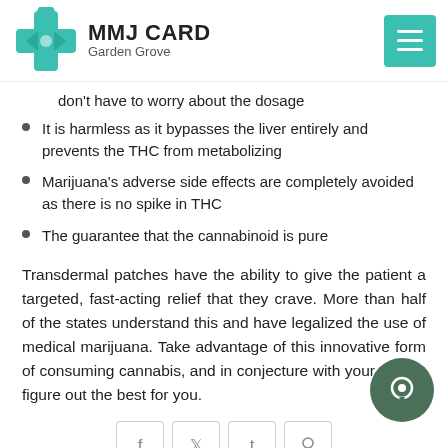MMJ CARD Garden Grove
don't have to worry about the dosage
It is harmless as it bypasses the liver entirely and prevents the THC from metabolizing
Marijuana's adverse side effects are completely avoided as there is no spike in THC
The guarantee that the cannabinoid is pure
Transdermal patches have the ability to give the patient a targeted, fast-acting relief that they crave. More than half of the states understand this and have legalized the use of medical marijuana. Take advantage of this innovative form of consuming cannabis, and in conjecture with your doctor, figure out the best for you.